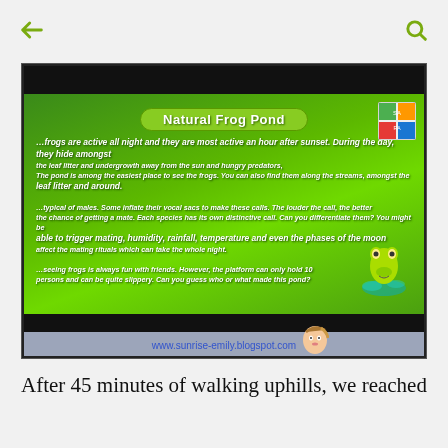← (back) | (search)
[Figure (photo): A green informational sign for 'Natural Frog Pond' photographed at night. The sign has a bright green textured background with white italic text describing frog behavior, calls, and pond viewing. A decorative frog illustration and flower designs are on the right side. A watermark reads www.sunrise-emily.blogspot.com at the bottom.]
After 45 minutes of walking uphills, we reached